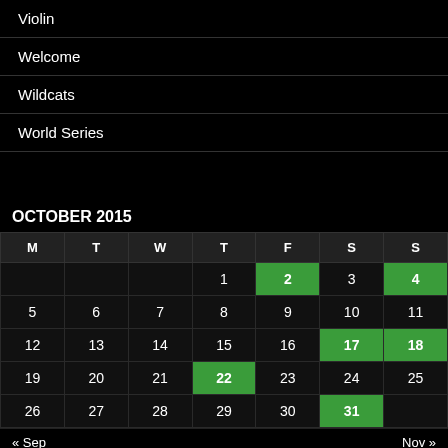Violin
Welcome
Wildcats
World Series
OCTOBER 2015
| M | T | W | T | F | S | S |
| --- | --- | --- | --- | --- | --- | --- |
|  |  |  | 1 | 2 | 3 | 4 |
| 5 | 6 | 7 | 8 | 9 | 10 | 11 |
| 12 | 13 | 14 | 15 | 16 | 17 | 18 |
| 19 | 20 | 21 | 22 | 23 | 24 | 25 |
| 26 | 27 | 28 | 29 | 30 | 31 |  |
« Sep   Nov »